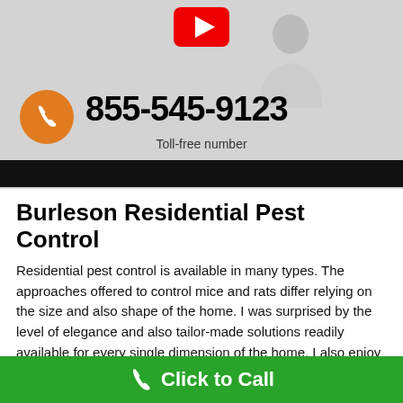[Figure (screenshot): Website banner showing a YouTube play button icon overlay on a light gray background with a person silhouette, an orange phone circle icon, a large phone number 855-545-9123, the label 'Toll-free number', and a black bar beneath.]
Burleson Residential Pest Control
Residential pest control is available in many types. The approaches offered to control mice and rats differ relying on the size and also shape of the home. I was surprised by the level of elegance and also tailor-made solutions readily available for every single dimension of the home. I also enjoy the fact that the costs for professional rodent control services are extremely budget friendly. The only exemption to this is if
Click to Call